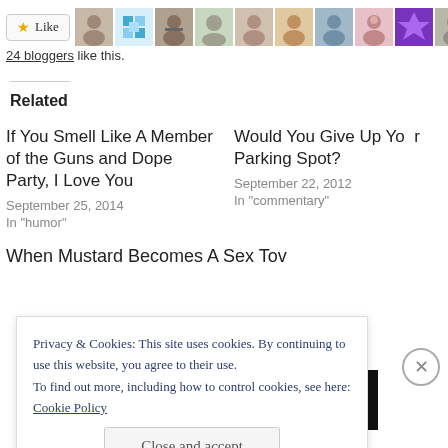[Figure (other): Like button with star icon and a row of blogger avatar photos]
24 bloggers like this.
Related
If You Smell Like A Member of the Guns and Dope Party, I Love You
September 25, 2014
In "humor"
Would You Give Up Yo...
Parking Spot?
September 22, 2012
In "commentary"
When Mustard Becomes A Sex Tov
Privacy & Cookies: This site uses cookies. By continuing to use this website, you agree to their use.
To find out more, including how to control cookies, see here: Cookie Policy
Close and accept